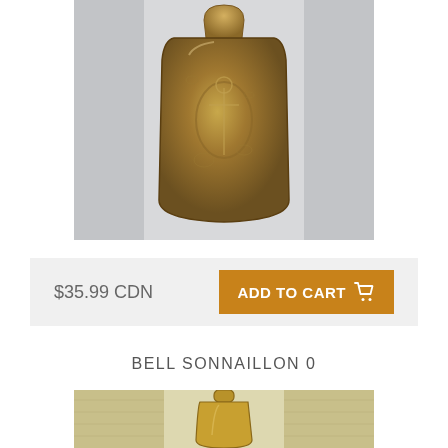[Figure (photo): Bronze decorative bell (sonnaillon) with embossed patterns and handle, photographed against a light gray background.]
$35.99 CDN
ADD TO CART
BELL SONNAILLON 0
[Figure (photo): Small golden brass bell with handle on a light wood/cream textured background, partial view cropped at bottom of page.]